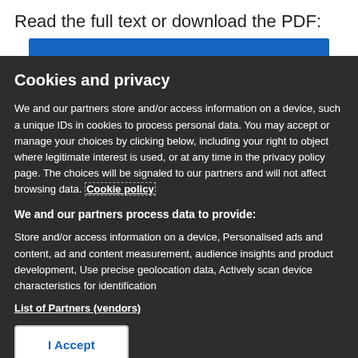Read the full text or download the PDF:
Cookies and privacy
We and our partners store and/or access information on a device, such a unique IDs in cookies to process personal data. You may accept or manage your choices by clicking below, including your right to object where legitimate interest is used, or at any time in the privacy policy page. These choices will be signaled to our partners and will not affect browsing data. Cookie policy
We and our partners process data to provide:
Store and/or access information on a device, Personalised ads and content, ad and content measurement, audience insights and product development, Use precise geolocation data, Actively scan device characteristics for identification
List of Partners (vendors)
I Accept